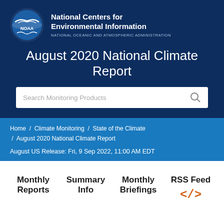[Figure (logo): NOAA logo circle with bird and blue ocean graphic]
National Centers for Environmental Information
NATIONAL OCEANIC AND ATMOSPHERIC ADMINISTRATION
August 2020 National Climate Report
Search Monitoring Products
Home / Climate Monitoring / State of the Climate / August 2020 National Climate Report
August US Release: Fri, 9 Sep 2022, 11:00 AM EDT
Monthly Reports
Summary Info
Monthly Briefings
RSS Feed